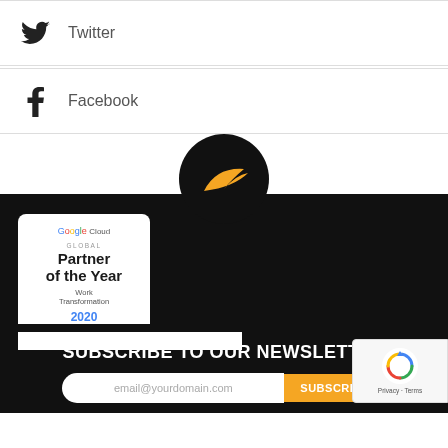Twitter
Facebook
[Figure (logo): McLaren-style logo: black circle with yellow swoosh/arrow]
[Figure (illustration): Google Cloud Global Partner of the Year Work Transformation 2020 badge]
SUBSCRIBE TO OUR NEWSLETTER
email@yourdomain.com
SUBSCRIBE